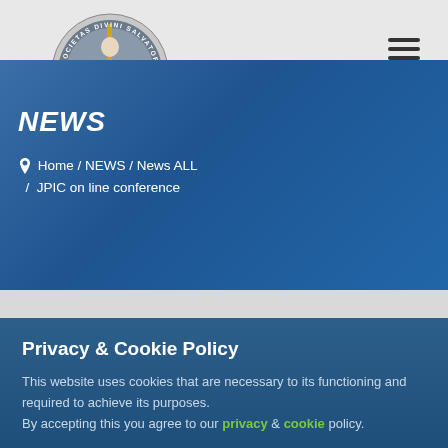[Figure (logo): Societas Divini Salvatoris (SDS) circular logo with Jesus figure in center, gold cross, and Latin text around border]
NEWS
Home / NEWS / News ALL / JPIC on line conference
Privacy & Cookie Policy
This website uses cookies that are necessary to its functioning and required to achieve its purposes. By accepting this you agree to our privacy & cookie policy.
Cookie Policy   Accept